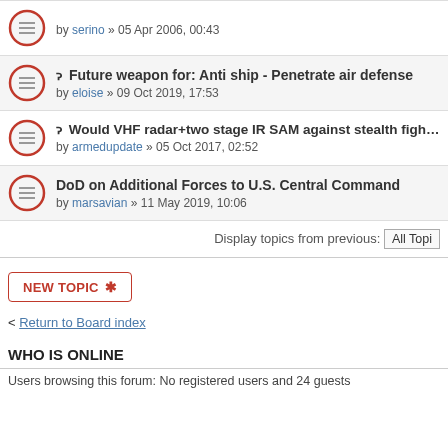by serino » 05 Apr 2006, 00:43
Future weapon for: Anti ship - Penetrate air defense
by eloise » 09 Oct 2019, 17:53
Would VHF radar+two stage IR SAM against stealth fighter?
by armedupdate » 05 Oct 2017, 02:52
DoD on Additional Forces to U.S. Central Command
by marsavian » 11 May 2019, 10:06
Display topics from previous: All Topi
NEW TOPIC ✱
Return to Board index
WHO IS ONLINE
Users browsing this forum: No registered users and 24 guests